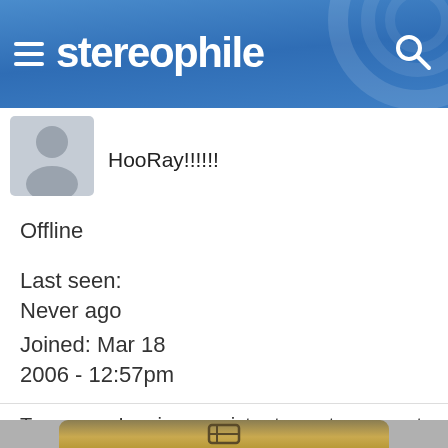stereophile
[Figure (photo): Default user avatar silhouette on grey background]
HooRay!!!!!!
Offline
Last seen:
Never ago
Joined: Mar 18 2006 - 12:57pm
Top   Log in or register to post comments
[Figure (photo): Partial view of an audio equipment piece with gold/bronze metallic casing and an embossed logo, on grey background]